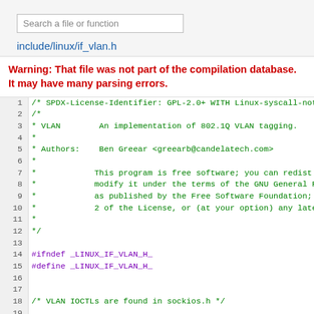Search a file or function
include/linux/if_vlan.h
Warning: That file was not part of the compilation database. It may have many parsing errors.
Source code listing for include/linux/if_vlan.h, lines 1-23